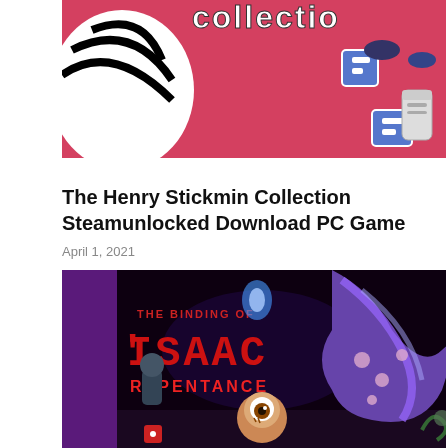[Figure (illustration): Partial top portion of The Henry Stickmin Collection game cover art showing a pink/red background with cartoon characters and the word 'collectio' partially visible at top right]
The Henry Stickmin Collection Steamunlocked Download PC Game
April 1, 2021
[Figure (illustration): The Binding of Isaac: Repentance game cover art showing dark background with red pixel-style game title text and fantasy/horror characters including a creature with long hair and a small character with a cyclops eye]